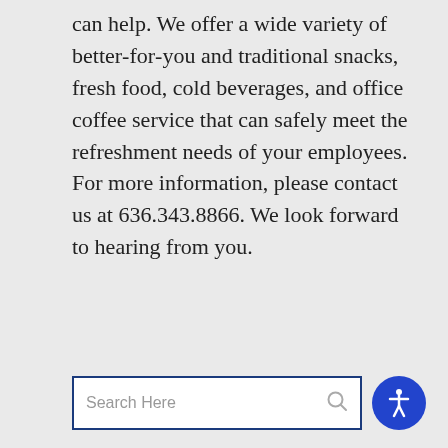can help. We offer a wide variety of better-for-you and traditional snacks, fresh food, cold beverages, and office coffee service that can safely meet the refreshment needs of your employees. For more information, please contact us at 636.343.8866. We look forward to hearing from you.